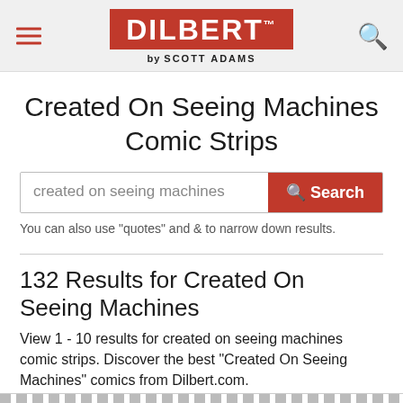DILBERT by SCOTT ADAMS
Created On Seeing Machines Comic Strips
created on seeing machines
You can also use "quotes" and & to narrow down results.
132 Results for Created On Seeing Machines
View 1 - 10 results for created on seeing machines comic strips. Discover the best "Created On Seeing Machines" comics from Dilbert.com.
Sort by: Relevance